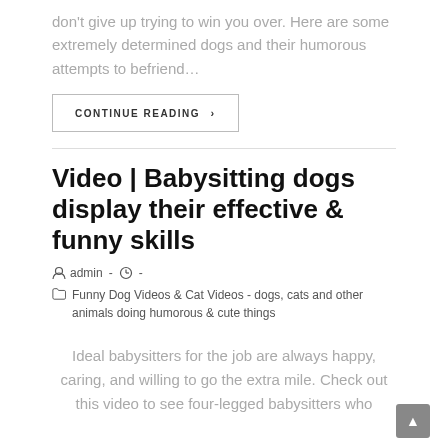don't give up trying to win you over. Here are some extremely determined dogs and their humorous attempts to befriend…
CONTINUE READING ›
Video | Babysitting dogs display their effective & funny skills
admin - ◷ -
☐ Funny Dog Videos & Cat Videos - dogs, cats and other animals doing humorous & cute things
Ideal babysitters for the job are always happy, caring, and willing to go the extra mile. Check out this video to see four-legged babysitters who